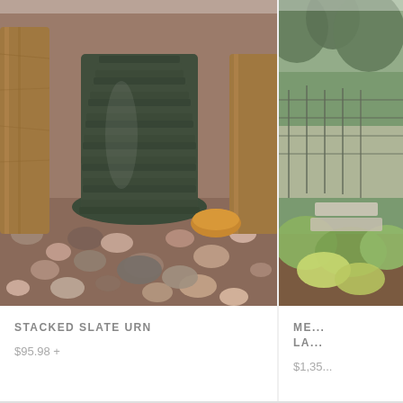[Figure (photo): Close-up photo of a stacked slate urn water feature surrounded by decorative river rocks and wooden posts in a garden setting]
STACKED SLATE URN
$95.98 +
[Figure (photo): Partial photo of a garden landscape with green plants and foliage, partially cropped on the right side]
ME... LA...
$1,35...